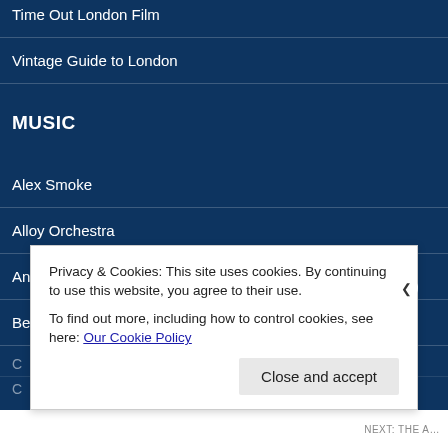Time Out London Film
Vintage Guide to London
MUSIC
Alex Smoke
Alloy Orchestra
Andrew Youdell
Ben Model
Privacy & Cookies: This site uses cookies. By continuing to use this website, you agree to their use.
To find out more, including how to control cookies, see here: Our Cookie Policy
Close and accept